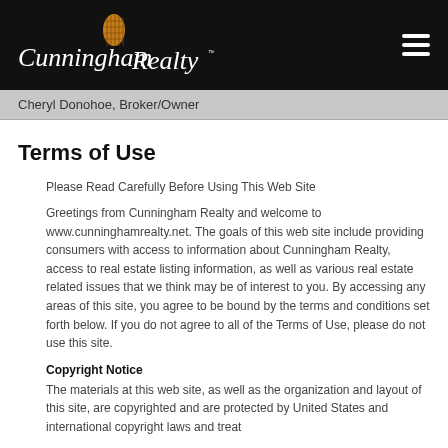[Figure (logo): Cunningham Realty logo with pineapple graphic on black background, script white text]
Cheryl Donohoe, Broker/Owner
Terms of Use
Please Read Carefully Before Using This Web Site
Greetings from Cunningham Realty and welcome to www.cunninghamrealty.net. The goals of this web site include providing consumers with access to information about Cunningham Realty, access to real estate listing information, as well as various real estate related issues that we think may be of interest to you. By accessing any areas of this site, you agree to be bound by the terms and conditions set forth below. If you do not agree to all of the Terms of Use, please do not use this site.
Copyright Notice
The materials at this web site, as well as the organization and layout of this site, are copyrighted and are protected by United States and international copyright laws and treaty...